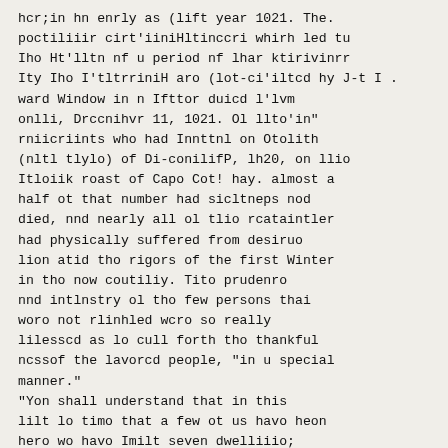hcr;in hn enrly as (lift year 1021. The. poctiliiir cirt'iiniHltinccri whirh led tu Iho Ht'lltn nf u period nf lhar ktirivinrr Ity Iho I'tltrriniH aro (lot-ci'iltcd hy J-t I . ward Window in n Ifttor duicd l'lvm onlli, Drccnihvr 11, 1021. Ol llto'in" rniicriints who had Innttnl on Otolith (nltl tlylo) of Di-conilifP, lh20, on llio Itloiik roast of Capo Cot! hay. almost a half ot that number had sicltneps nod died, nnd nearly all ol tlio rcataintler had physically suffered from desiruo lion atid tho rigors of the first Winter in tho now coutiliy. Tito prudenro nnd intlnstry ol tho few persons thai woro not rlinhled wcro so really lilesscd as lo cull forth tho thankful ncssof the lavorcd people, "in u special manner."
"Yon shall understand that in this lilt lo timo that a few ot us havo heon hero wo havo Imilt seven dwelliiio; houses und four for tho nso of tho plantation, nod havo mado prepara